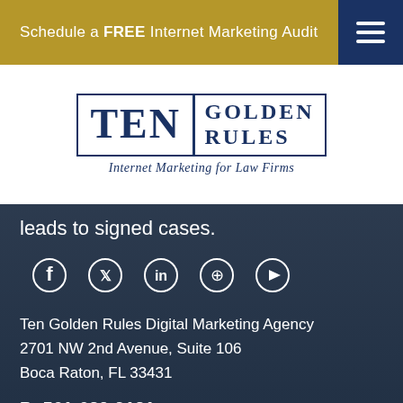Schedule a FREE Internet Marketing Audit
[Figure (logo): Ten Golden Rules Internet Marketing for Law Firms logo — bold serif TEN on the left, GOLDEN RULES on the right inside a rectangular border, with tagline below]
leads to signed cases.
[Figure (infographic): Row of 5 social media icons: Facebook, Twitter, LinkedIn, Pinterest, YouTube]
Ten Golden Rules Digital Marketing Agency
2701 NW 2nd Avenue, Suite 106
Boca Raton, FL 33431
P: 561-620-9121